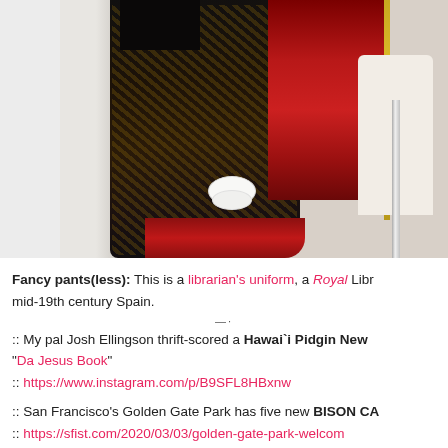[Figure (photo): A mannequin or display form showing an elaborate historical costume — a Royal Library librarian's uniform from mid-19th century Spain. The costume features a dark coat with intricate gold embroidery, a red waistcoat or lining, and white ruffled cuffs. The background is light gray/white.]
Fancy pants(less): This is a librarian's uniform, a Royal Libr... mid-19th century Spain.
:: My pal Josh Ellingson thrift-scored a Hawai`i Pidgin New... "Da Jesus Book"
:: https://www.instagram.com/p/B9SFL8HBxnw
:: San Francisco's Golden Gate Park has five new BISON CA...
:: https://sfist.com/2020/03/03/golden-gate-park-welcom...